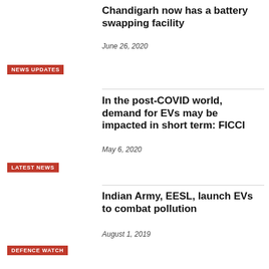Chandigarh now has a battery swapping facility
June 26, 2020
NEWS UPDATES
In the post-COVID world, demand for EVs may be impacted in short term: FICCI
May 6, 2020
LATEST NEWS
Indian Army, EESL, launch EVs to combat pollution
August 1, 2019
DEFENCE WATCH